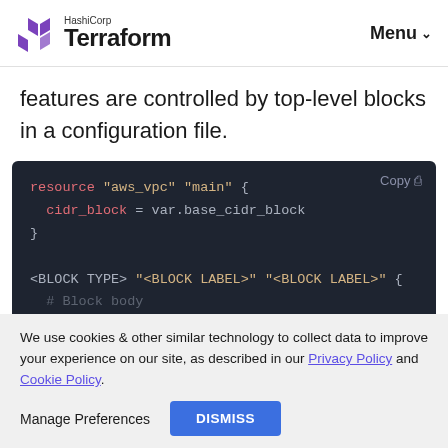HashiCorp Terraform — Menu
features are controlled by top-level blocks in a configuration file.
[Figure (screenshot): Dark-themed code block showing Terraform HCL syntax. First example: resource "aws_vpc" "main" { cidr_block = var.base_cidr_block }. Second example: <BLOCK TYPE> "<BLOCK LABEL>" "<BLOCK LABEL>" { # Block body. A 'Copy' button is shown in the top-right of the block.]
We use cookies & other similar technology to collect data to improve your experience on our site, as described in our Privacy Policy and Cookie Policy.
Manage Preferences  DISMISS